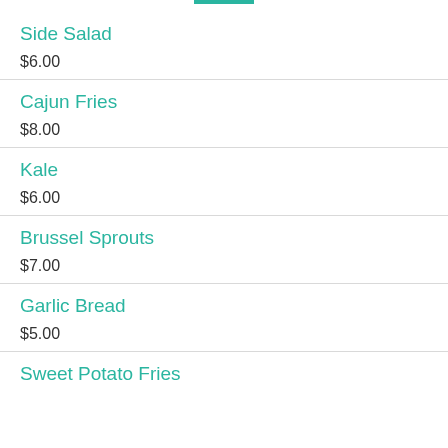Side Salad
$6.00
Cajun Fries
$8.00
Kale
$6.00
Brussel Sprouts
$7.00
Garlic Bread
$5.00
Sweet Potato Fries